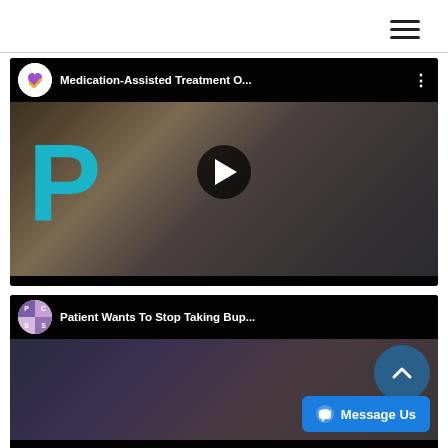[Figure (screenshot): Hamburger menu icon (three horizontal lines) in top right corner]
[Figure (screenshot): YouTube video thumbnail for 'Medication-Assisted Treatment O...' showing a doctor in a white coat with a teal P logo on the left and a play button overlay]
[Figure (screenshot): YouTube video thumbnail for 'Patient Wants To Stop Taking Bup...' showing PCSS logo and a man's face, with a Message Us button overlay]